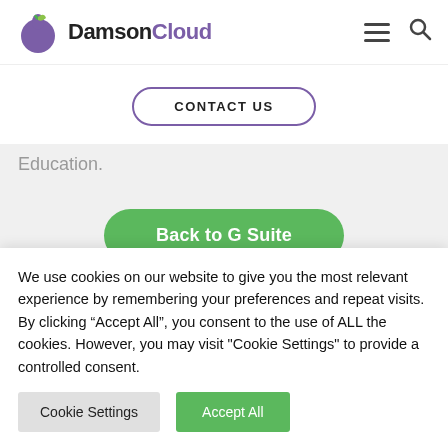[Figure (logo): DamsonCloud logo with purple circle/plum icon and green leaf, text reads DamsonCloud with Cloud in purple]
CONTACT US
Education.
Back to G Suite
We use cookies on our website to give you the most relevant experience by remembering your preferences and repeat visits. By clicking “Accept All”, you consent to the use of ALL the cookies. However, you may visit "Cookie Settings" to provide a controlled consent.
Cookie Settings
Accept All